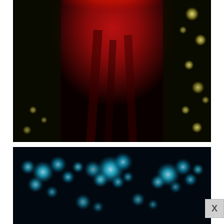[Figure (photo): A dark photograph showing a person in a deep red coat or garment, with bokeh lights (yellowish-green circular out-of-focus light dots) visible on the sides against a black background.]
[Figure (photo): A dark photograph showing blurred cyan/turquoise bokeh light circles against a very dark navy background, creating an abstract light bokeh effect.]